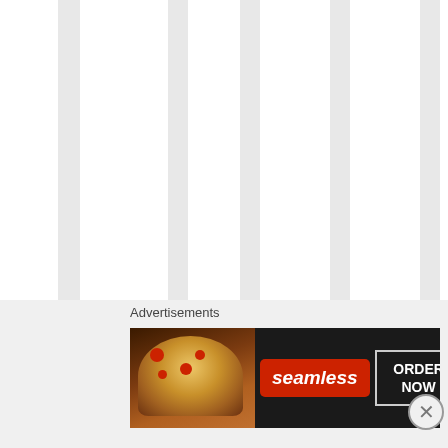26, 2015 at 10:26 pm
said:
I do ?I go t no pr obl em wit h
Advertisements
[Figure (screenshot): Seamless food delivery advertisement banner with pizza image on left, seamless logo in center, and ORDER NOW button on right]